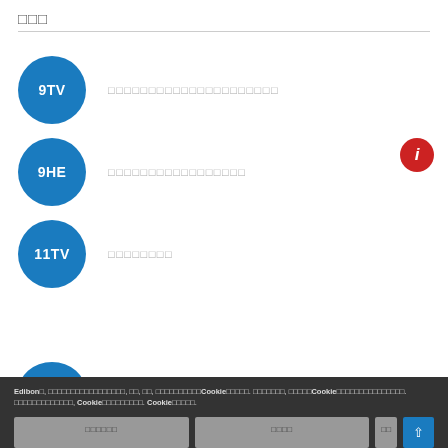□□□
9TV  □□□□□□□□□□□□□□□□□□□□□
9HE  □□□□□□□□□□□□□□□□□
11TV  □□□□□□□□
Edibon□, □□□□□□□□□□□□□□□□□, □□, □□, □□□□□□□□□□Cookie□□□□□. □□□□□□□, □□□□□Cookie□□□□□□□□□□□□□□□. □□□□□□□□□□□□□, Cookie□□□□□□□□□. Cookie□□□□□.
□□□□□□   □□□□   □□